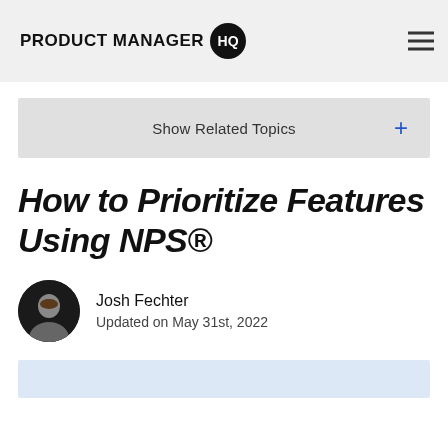PRODUCT MANAGER HQ
Show Related Topics +
How to Prioritize Features Using NPS®
Josh Fechter
Updated on May 31st, 2022
[Figure (other): Light blue partial box at bottom of page]